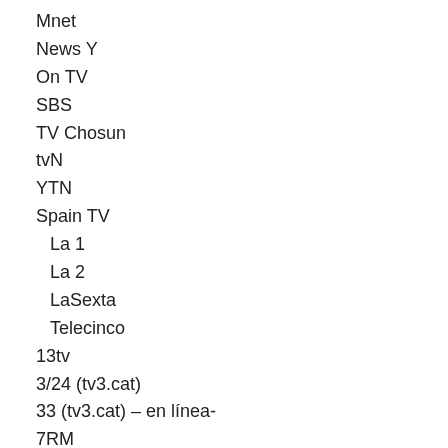Mnet
News Y
On TV
SBS
TV Chosun
tvN
YTN
Spain TV
La 1
La 2
LaSexta
Telecinco
13tv
3/24 (tv3.cat)
33 (tv3.cat) – en línea-
7RM
8tv